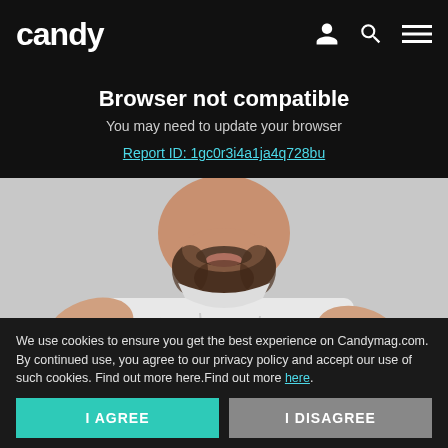candy
Browser not compatible
You may need to update your browser
Report ID: 1gc0r3i4a1ja4q728bu
[Figure (photo): Photo of a bearded man in a white t-shirt, cropped to show face and upper torso]
How To Get A Migraine To Go Away (Write These D...
Read on App
Migraine | Search Ads | Sponsored
We use cookies to ensure you get the best experience on Candymag.com. By continued use, you agree to our privacy policy and accept our use of such cookies. Find out more here.Find out more here.
I AGREE
I DISAGREE